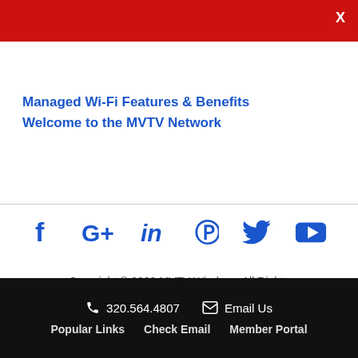X
Managed Wi-Fi Features & Benefits
Welcome to the MVTV Network
[Figure (other): Social media icons row: Facebook, Google+, LinkedIn, Pinterest, Twitter, YouTube]
Copyright © 2022 MVTV Wireless. All Rights Reserved.   Privacy Policy   Developed by Vivid Image   Accessibility Statement   Log in
320.564.4807   Email Us   Popular Links   Check Email   Member Portal